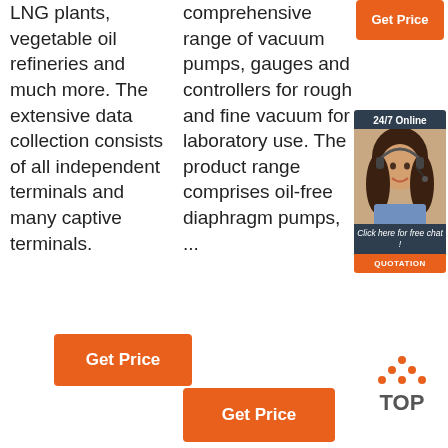LNG plants, vegetable oil refineries and much more. The extensive data collection consists of all independent terminals and many captive terminals.
comprehensive range of vacuum pumps, gauges and controllers for rough and fine vacuum for laboratory use. The product range comprises oil-free diaphragm pumps, ...
[Figure (other): Orange 'Get Price' button in top right area]
[Figure (other): 24/7 Online chat widget with woman wearing headset, 'Click here for free chat!' text, and orange QUOTATION button]
[Figure (other): Orange 'Get Price' button below left column text]
[Figure (other): Orange 'Get Price' button below middle column text]
[Figure (other): TOP icon with orange dots above text 'TOP']